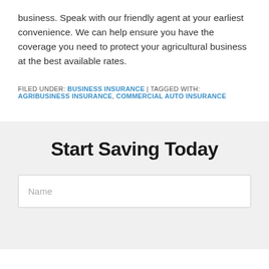business. Speak with our friendly agent at your earliest convenience. We can help ensure you have the coverage you need to protect your agricultural business at the best available rates.
FILED UNDER: BUSINESS INSURANCE | TAGGED WITH: AGRIBUSINESS INSURANCE, COMMERCIAL AUTO INSURANCE
Start Saving Today
Name